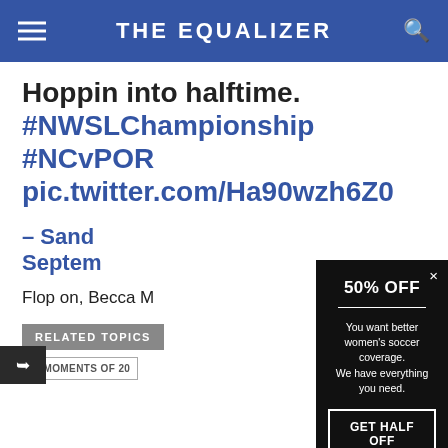THE EQUALIZER
Hoppin into halftime. #NWSLChampionship #NCvPOR pic.twitter.com/Ha90wzh6Z0
– Sand… Septem…
Flop on, Becca M…
RELATED TOPICS
XI MOMENTS OF 20…
[Figure (screenshot): Popup advertisement on dark black background with '50% OFF' heading, divider line, body text 'You want better women's soccer coverage. We have everything you need.' and a CTA button 'GET HALF OFF']